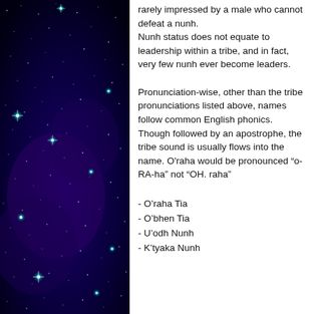[Figure (photo): Dark starfield photo with teal/blue glowing stars against a deep purple-black space background, occupying the left column of the page.]
rarely impressed by a male who cannot defeat a nunh. Nunh status does not equate to leadership within a tribe, and in fact, very few nunh ever become leaders.
Pronunciation-wise, other than the tribe pronunciations listed above, names follow common English phonics. Though followed by an apostrophe, the tribe sound is usually flows into the name. O'raha would be pronounced “o-RA-ha” not “OH. raha”
- O’raha Tia
- O’bhen Tia
- U’odh Nunh
- K’tyaka Nunh